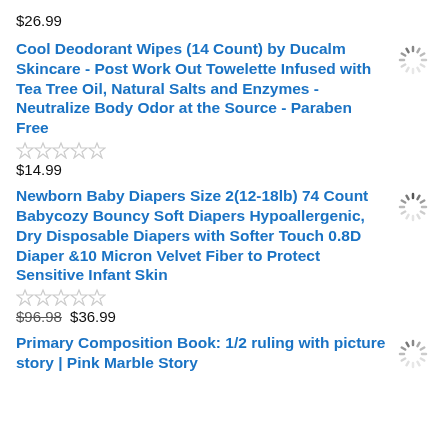$26.99
Cool Deodorant Wipes (14 Count) by Ducalm Skincare - Post Work Out Towelette Infused with Tea Tree Oil, Natural Salts and Enzymes - Neutralize Body Odor at the Source - Paraben Free
$14.99
Newborn Baby Diapers Size 2(12-18lb) 74 Count Babycozy Bouncy Soft Diapers Hypoallergenic, Dry Disposable Diapers with Softer Touch 0.8D Diaper &10 Micron Velvet Fiber to Protect Sensitive Infant Skin
$96.98 $36.99
Primary Composition Book: 1/2 ruling with picture story | Pink Marble Story